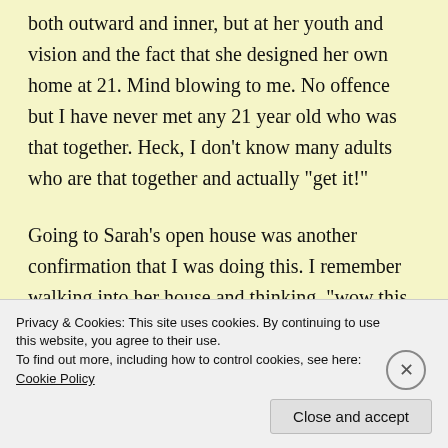both outward and inner, but at her youth and vision and the fact that she designed her own home at 21. Mind blowing to me. No offence but I have never met any 21 year old who was that together. Heck, I don't know many adults who are that together and actually “get it!”
Going to Sarah’s open house was another confirmation that I was doing this. I remember walking into her house and thinking, “wow this is huge.” When you see a tiny house and think it is huge, well I think that is a sign that you are ready to live tiny. You have no preconceived
Privacy & Cookies: This site uses cookies. By continuing to use this website, you agree to their use.
To find out more, including how to control cookies, see here: Cookie Policy
Close and accept